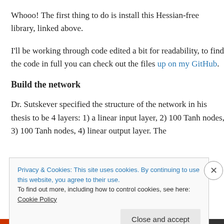Whooo! The first thing to do is install this Hessian-free library, linked above.
I'll be working through code edited a bit for readability, to find the code in full you can check out the files up on my GitHub.
Build the network
Dr. Sutskever specified the structure of the network in his thesis to be 4 layers: 1) a linear input layer, 2) 100 Tanh nodes, 3) 100 Tanh nodes, 4) linear output layer. The
Privacy & Cookies: This site uses cookies. By continuing to use this website, you agree to their use.
To find out more, including how to control cookies, see here: Cookie Policy